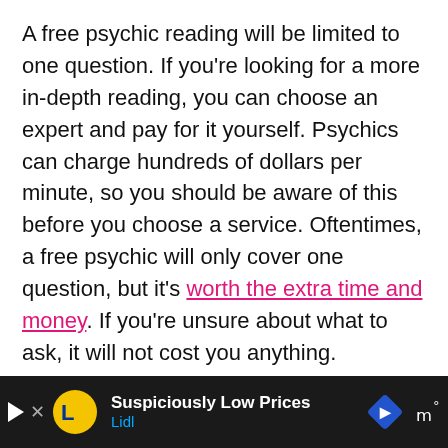A free psychic reading will be limited to one question. If you're looking for a more in-depth reading, you can choose an expert and pay for it yourself. Psychics can charge hundreds of dollars per minute, so you should be aware of this before you choose a service. Oftentimes, a free psychic will only cover one question, but it's worth the extra time and money. If you're unsure about what to ask, it will not cost you anything.
There are also several websites where you can get a free psychic reading. Psychic Source, for example, offers free minutes. You can pay $10 for a [cut off]
[Figure (other): Advertisement banner at the bottom of the page for Lidl with the text 'Suspiciously Low Prices' and 'Lidl'. Dark background with Lidl yellow circular logo, a play button icon, a close X button, a blue diamond road sign icon, and audio wave icon.]